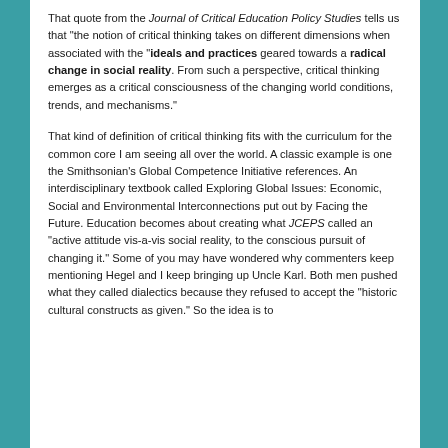That quote from the Journal of Critical Education Policy Studies tells us that "the notion of critical thinking takes on different dimensions when associated with the "ideals and practices geared towards a radical change in social reality. From such a perspective, critical thinking emerges as a critical consciousness of the changing world conditions, trends, and mechanisms."
That kind of definition of critical thinking fits with the curriculum for the common core I am seeing all over the world. A classic example is one the Smithsonian’s Global Competence Initiative references. An interdisciplinary textbook called Exploring Global Issues: Economic, Social and Environmental Interconnections put out by Facing the Future. Education becomes about creating what JCEPS called an “active attitude vis-a-vis social reality, to the conscious pursuit of changing it.” Some of you may have wondered why commenters keep mentioning Hegel and I keep bringing up Uncle Karl. Both men pushed what they called dialectics because they refused to accept the “historic cultural constructs as given.” So the idea is to